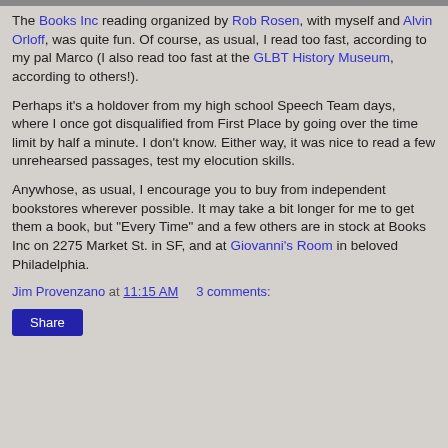[Figure (photo): Partial image at the top of the page, cropped]
The Books Inc reading organized by Rob Rosen, with myself and Alvin Orloff, was quite fun. Of course, as usual, I read too fast, according to my pal Marco (I also read too fast at the GLBT History Museum, according to others!).
Perhaps it's a holdover from my high school Speech Team days, where I once got disqualified from First Place by going over the time limit by half a minute. I don't know. Either way, it was nice to read a few unrehearsed passages, test my elocution skills.
Anywhose, as usual, I encourage you to buy from independent bookstores wherever possible. It may take a bit longer for me to get them a book, but "Every Time" and a few others are in stock at Books Inc on 2275 Market St. in SF, and at Giovanni's Room in beloved Philadelphia.
Jim Provenzano at 11:15 AM   3 comments:
Share